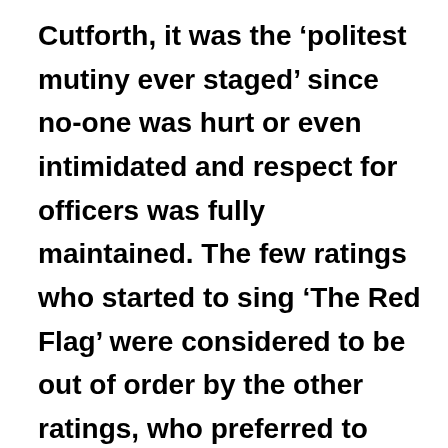Cutforth, it was the 'politest mutiny ever staged' since no-one was hurt or even intimidated and respect for officers was fully maintained. The few ratings who started to sing 'The Red Flag' were considered to be out of order by the other ratings, who preferred to sing, 'the more we are together the merrier we shall be', a popular drinking song. They sent a written representation of their case to the